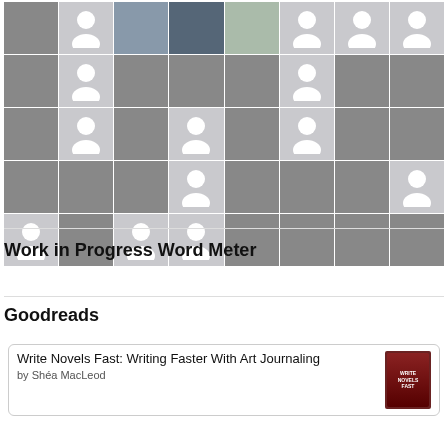[Figure (photo): Grid of user profile photos and avatar placeholders, 8 columns by 4 rows]
Work in Progress Word Meter
Goodreads
Write Novels Fast: Writing Faster With Art Journaling
by Shéa MacLeod